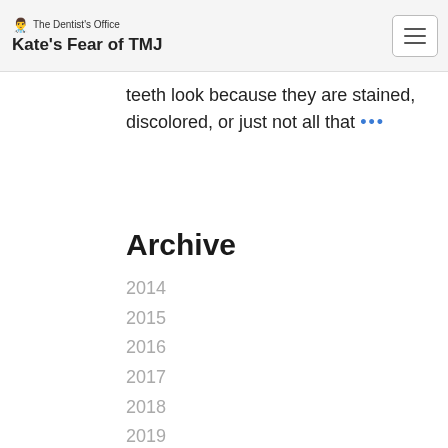The Dentist's Office — Kate's Fear of TMJ
teeth look because they are stained, discolored, or just not all that ...
Archive
2014
2015
2016
2017
2018
2019
2020
2021
2022